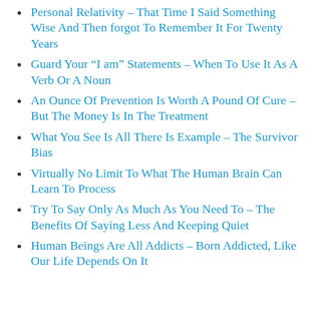Personal Relativity – That Time I Said Something Wise And Then forgot To Remember It For Twenty Years
Guard Your “I am” Statements – When To Use It As A Verb Or A Noun
An Ounce Of Prevention Is Worth A Pound Of Cure – But The Money Is In The Treatment
What You See Is All There Is Example – The Survivor Bias
Virtually No Limit To What The Human Brain Can Learn To Process
Try To Say Only As Much As You Need To – The Benefits Of Saying Less And Keeping Quiet
Human Beings Are All Addicts – Born Addicted, Like Our Life Depends On It